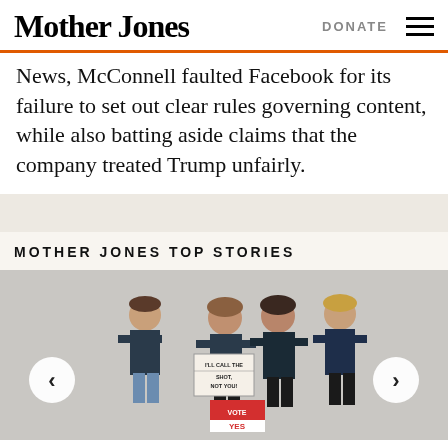Mother Jones | DONATE
News, McConnell faulted Facebook for its failure to set out clear rules governing content, while also batting aside claims that the company treated Trump unfairly.
MOTHER JONES TOP STORIES
[Figure (photo): Four women standing together posing for a photo. One holds a sign reading 'I'LL CALL THE SHOT, NOT YOU!' and another sign near the bottom reads 'VOTE YES'. They are wearing dark t-shirts. The photo has carousel navigation arrows on left and right.]